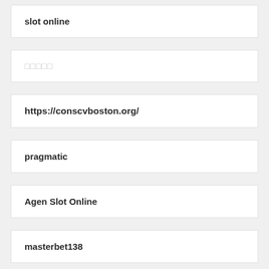slot online
□□□□□
https://conscvboston.org/
pragmatic
Agen Slot Online
masterbet138